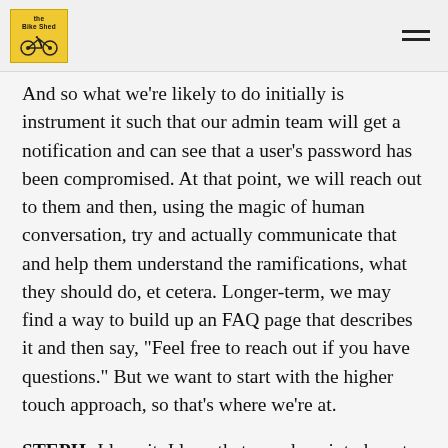The Bike Shed
And so what we're likely to do initially is instrument it such that our admin team will get a notification and can see that a user's password has been compromised. At that point, we will reach out to them and then, using the magic of human conversation, try and actually communicate that and help them understand the ramifications, what they should do, et cetera. Longer-term, we may find a way to build up an FAQ page that describes it and then say, "Feel free to reach out if you have questions." But we want to start with the higher touch approach, so that's where we're at.
STEPH: I love it. I love that you dove into how to explain this to people as well because I was just thinking, like, this is complicated, and you're going to freak people out in panic. But you want them to take action but not panic. Well, I don't know, maybe they